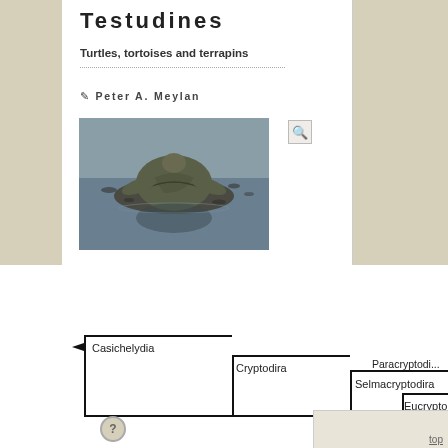Testudines
Turtles, tortoises and terrapins
Peter A. Meylan
[Figure (photo): A turtle viewed from above, resting on a rock partially submerged in water, with its reflection visible]
[Figure (flowchart): Phylogenetic tree showing: Casichelydia -> Cryptodira -> Selmacryptodira -> Eucryptodira -> Centrocryptodi... and Paracryptodi... branches]
top